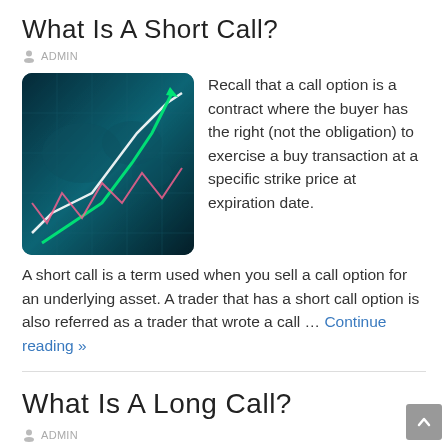What Is A Short Call?
ADMIN
[Figure (photo): Financial chart image with glowing trade lines over a world map background, teal/cyan color scheme]
Recall that a call option is a contract where the buyer has the right (not the obligation) to exercise a buy transaction at a specific strike price at expiration date. A short call is a term used when you sell a call option for an underlying asset. A trader that has a short call option is also referred as a trader that wrote a call … Continue reading »
What Is A Long Call?
ADMIN